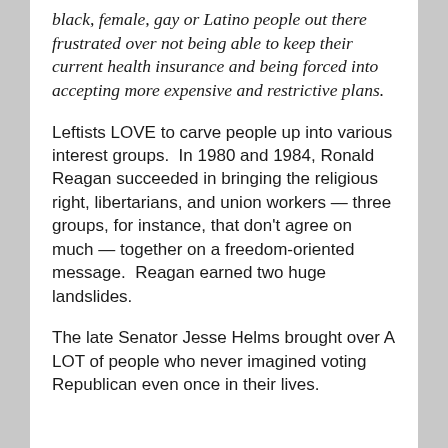black, female, gay or Latino people out there frustrated over not being able to keep their current health insurance and being forced into accepting more expensive and restrictive plans.
Leftists LOVE to carve people up into various interest groups.  In 1980 and 1984, Ronald Reagan succeeded in bringing the religious right, libertarians, and union workers — three groups, for instance, that don't agree on much — together on a freedom-oriented message.  Reagan earned two huge landslides.
The late Senator Jesse Helms brought over A LOT of people who never imagined voting Republican even once in their lives.